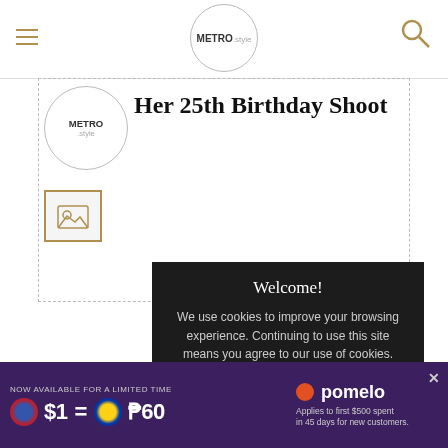METRO.style
Her 25th Birthday Shoot
[Figure (logo): Metro.style circular logo watermark]
[Figure (illustration): Image placeholder icon with mountain/photo symbol]
Welcome!

We use cookies to improve your browsing experience. Continuing to use this site means you agree to our use of cookies.

Tell me more!

I Agree
TERMS
ADVERTISE WITH US
[Figure (infographic): Advertisement banner: NOW AVAILABLE FOR A LIMITED TIME. $1 = ₱60. Applies to first $500 spent in 45 days for new customers. Pomelo logo.]